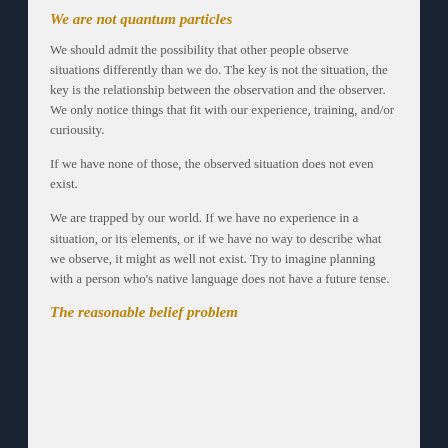We are not quantum particles
We should admit the possibility that other people observe situations differently than we do. The key is not the situation, the key is the relationship between the observation and the observer. We only notice things that fit with our experience, training, and/or curiousity.
If we have none of those, the observed situation does not even exist.
We are trapped by our world. If we have no experience in a situation, or its elements, or if we have no way to describe what we observe, it might as well not exist. Try to imagine planning with a person who's native language does not have a future tense.
The reasonable belief problem